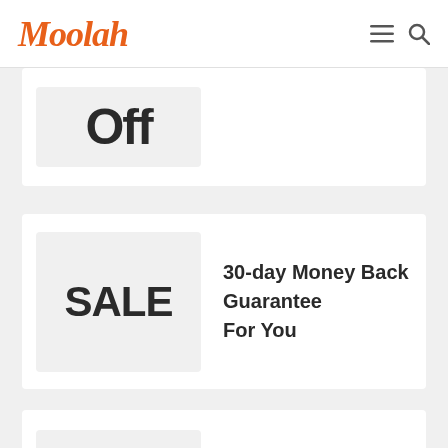Moolah
[Figure (other): Partial coupon badge showing clipped text 'Off' in large bold letters on light gray background]
[Figure (other): SALE badge on gray background with text '30-day Money Back Guarantee For You']
30-day Money Back Guarantee For You
[Figure (other): 70% OFF badge on gray background with text 'Take 70% Offer On All Connectify License Types']
Take 70% Offer On All Connectify License Types